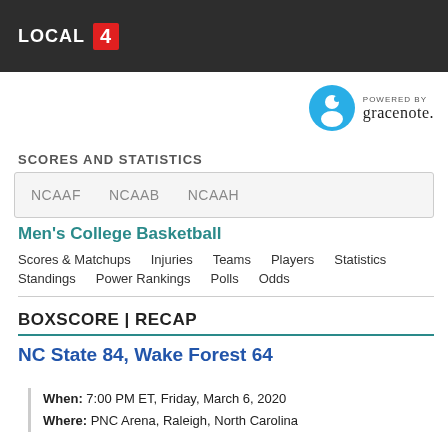LOCAL 4
[Figure (logo): Gracenote logo - circular blue icon with white G figure, text POWERED BY gracenote.]
SCORES AND STATISTICS
NCAAF   NCAAB   NCAAH
Men's College Basketball
Scores & Matchups   Injuries   Teams   Players   Statistics   Standings   Power Rankings   Polls   Odds
BOXSCORE | RECAP
NC State 84, Wake Forest 64
When: 7:00 PM ET, Friday, March 6, 2020
Where: PNC Arena, Raleigh, North Carolina